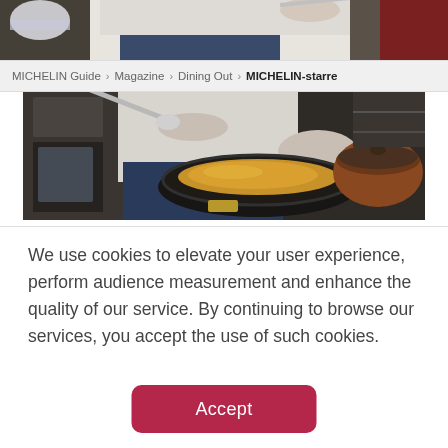[Figure (photo): Chef in kitchen cooking with a ladle, stirring a golden sauce in a dark pan, with kitchen equipment in background — top portion cropped]
MICHELIN Guide › Magazine › Dining Out › MICHELIN-starre
[Figure (photo): Chef in white shirt using a ladle to stir or serve golden/brown sauce from a large black pan on a kitchen counter, with a wooden-lidded vessel to the right]
We use cookies to elevate your user experience, perform audience measurement and enhance the quality of our service. By continuing to browse our services, you accept the use of such cookies.
Accept